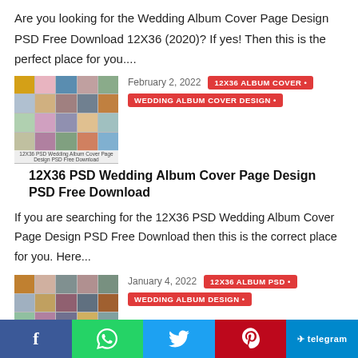Are you looking for the Wedding Album Cover Page Design PSD Free Download 12X36 (2020)? If yes! Then this is the perfect place for you....
[Figure (photo): Thumbnail image of 12X36 PSD Wedding Album Cover Page Design collage]
February 2, 2022
12X36 ALBUM COVER •
WEDDING ALBUM COVER DESIGN •
12X36 PSD Wedding Album Cover Page Design PSD Free Download
If you are searching for the 12X36 PSD Wedding Album Cover Page Design PSD Free Download then this is the correct place for you. Here...
[Figure (photo): Thumbnail image of Latest Marriage Album Design PSD collage]
January 4, 2022
12X36 ALBUM PSD •
WEDDING ALBUM DESIGN •
Latest Marriage Album Design PSD Free Download – Freepsdking.com